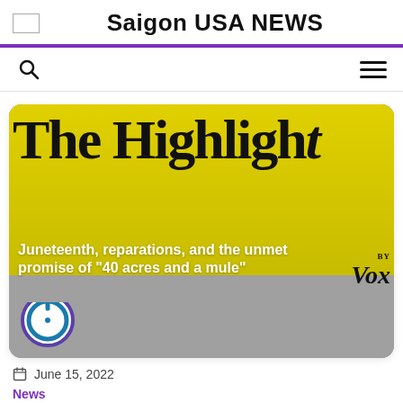Saigon USA NEWS
[Figure (screenshot): News article card with yellow/gold background showing 'The Highligh...' headline banner and subheading 'Juneteenth, reparations, and the unmet promise of "40 acres and a mule"' with Vox logo, power button icon, date June 15 2022, and News tag]
June 15, 2022
News